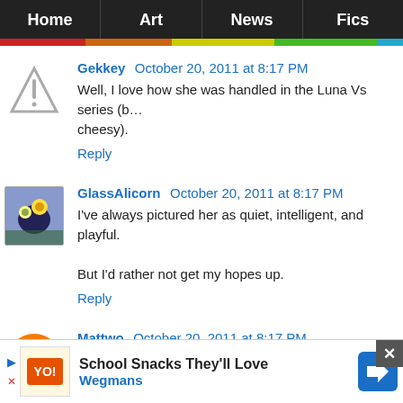Home | Art | News | Fics
Gekkey October 20, 2011 at 8:17 PM
Well, I love how she was handled in the Luna Vs series (b… cheesy).
Reply
GlassAlicorn October 20, 2011 at 8:17 PM
I've always pictured her as quiet, intelligent, and playful.
But I'd rather not get my hopes up.
Reply
Mattwo October 20, 2011 at 8:17 PM
Let's see, she wants to make her image better, but I assume… episode, she has a hard time doing so.
[Figure (screenshot): Advertisement banner: School Snacks They'll Love - Wegmans]